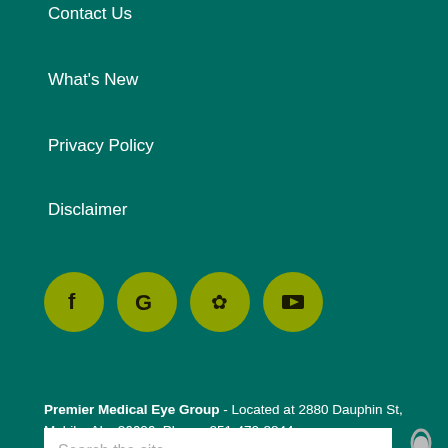Contact Us
What's New
Privacy Policy
Disclaimer
[Figure (other): Row of four olive-green social media icon circles: Facebook (f), Google (G), Yelp (flower/asterisk), YouTube (play button in rectangle)]
Request An Appointment
Search the site
Premier Medical Eye Group - Located at 2880 Dauphin St, Mobile, AL , 36606. Phone: 251-470-8844 .